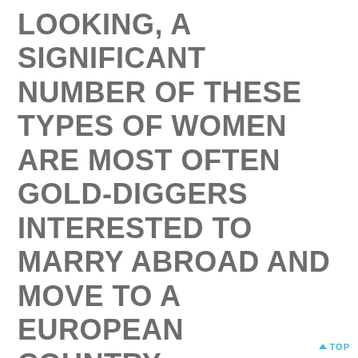LOOKING, A SIGNIFICANT NUMBER OF THESE TYPES OF WOMEN ARE MOST OFTEN GOLD-DIGGERS INTERESTED TO MARRY ABROAD AND MOVE TO A EUROPEAN COUNTRY.
TRULY, THERE HAS BEEN EVIDENCE THAT THE BIBLE RETAINS TRUTH. LOOK EVEN MORE INTO HISTORIC DOCUMENTS AND BOOKS DEVELOPED IN THE TIMES THE SOMEBODY WAS CREATED. OTHER PEOPLE, JUST WHO